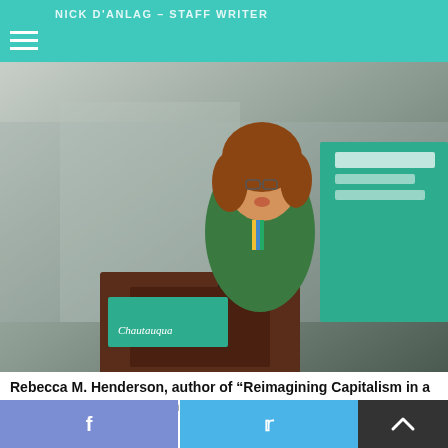NICK DANLAG – STAFF WRITER
[Figure (photo): Rebecca M. Henderson, author of 'Reimagining Capitalism in a World on Fire', speaking at a podium with a Chautauqua Institution banner in the background.]
Rebecca M. Henderson, author of “Reimagining Capitalism in a World on Fire” speaks Thursday, Aug. 12, 2021 in the Amphitheater. DAVE EDITOR